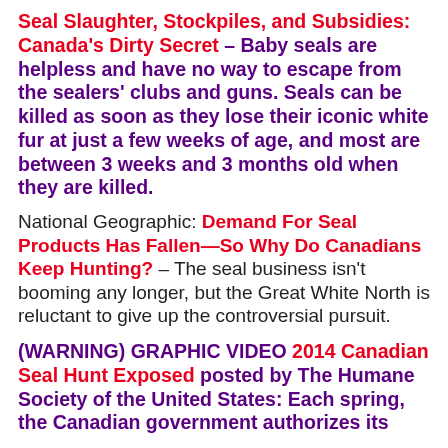Seal Slaughter, Stockpiles, and Subsidies: Canada's Dirty Secret – Baby seals are helpless and have no way to escape from the sealers' clubs and guns. Seals can be killed as soon as they lose their iconic white fur at just a few weeks of age, and most are between 3 weeks and 3 months old when they are killed.
National Geographic: Demand For Seal Products Has Fallen—So Why Do Canadians Keep Hunting? – The seal business isn't booming any longer, but the Great White North is reluctant to give up the controversial pursuit.
(WARNING) GRAPHIC VIDEO 2014 Canadian Seal Hunt Exposed posted by The Humane Society of the United States: Each spring, the Canadian government authorizes its...